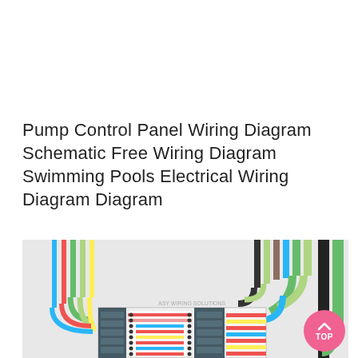Pump Control Panel Wiring Diagram Schematic Free Wiring Diagram Swimming Pools Electrical Wiring Diagram Diagram
[Figure (schematic): Colorful wiring diagram / schematic showing a pump control panel with multiple colored wire bundles (green, yellow-green, red, blue, black, yellow, teal) connecting to a central panel with circuit breakers or terminal blocks arranged in rows. Multiple colored horizontal wire strips are visible across the panel face.]